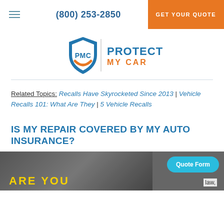(800) 253-2850 | GET YOUR QUOTE
[Figure (logo): PMC Protect My Car logo with shield icon in blue and orange]
Related Topics: Recalls Have Skyrocketed Since 2013 | Vehicle Recalls 101: What Are They | 5 Vehicle Recalls
IS MY REPAIR COVERED BY MY AUTO INSURANCE?
[Figure (photo): Person holding a yellow sign with 'ARE YOU' text visible, partially obscured. A Quote Form button overlay is shown.]